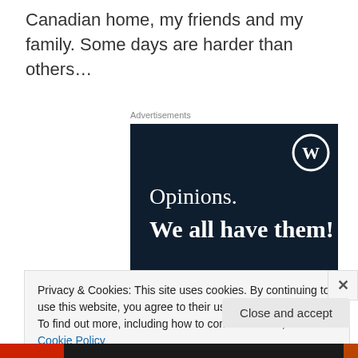Canadian home, my friends and my family. Some days are harder than others…
Advertisements
[Figure (illustration): WordPress advertisement banner with dark navy background. Shows WordPress 'W' logo in top right. Text reads 'Opinions. We all have them!' in white serif font. Pink button partially visible at bottom, and a circular avatar partially visible.]
Privacy & Cookies: This site uses cookies. By continuing to use this website, you agree to their use.
To find out more, including how to control cookies, see here: Cookie Policy